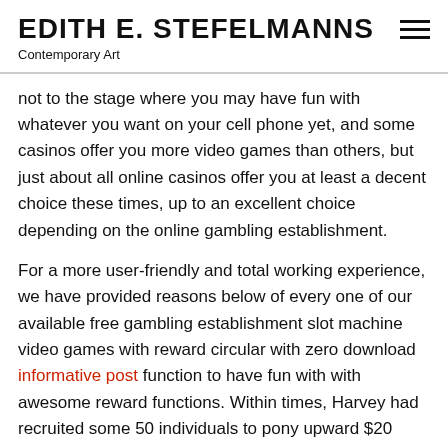EDITH E. STEFELMANNS
Contemporary Art
not to the stage where you may have fun with whatever you want on your cell phone yet, and some casinos offer you more video games than others, but just about all online casinos offer you at least a decent choice these times, up to an excellent choice depending on the online gambling establishment.
For a more user-friendly and total working experience, we have provided reasons below of every one of our available free gambling establishment slot machine video games with reward circular with zero download informative post function to have fun with with awesome reward functions. Within times, Harvey had recruited some 50 individuals to pony upward $20 every, for a complete of $1,000, sufficient to buy 500 Cash WinFall tickets for the February 7 roll-down drawing. Because it gives the gambling house another explanation to cling it to the gambler! Various on the net casinos feature their have apps also, so that your cellular modern casino